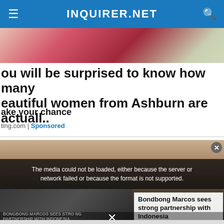INQUIRER.NET
[Figure (photo): Partial top image showing women with flowers, cropped at top of page]
ou will be surprised to know how many eautiful women from Ashburn are actuall..
ake your chance
ting.com | Sponsored
[Figure (screenshot): News article image showing a man with shaved head in front of golden curtain background, with video player overlay showing 'The media could not be loaded, either because the server or network failed or because the format is not supported.' and a thumbnail for Bongbong Marcos story]
Bongbong Marcos sees strong partnership with Indonesia
The media could not be loaded, either because the server or network failed or because the format is not supported.
BONGBONG MARCOS SEES STRONG PARTNERSHIP WITH INDONESIA